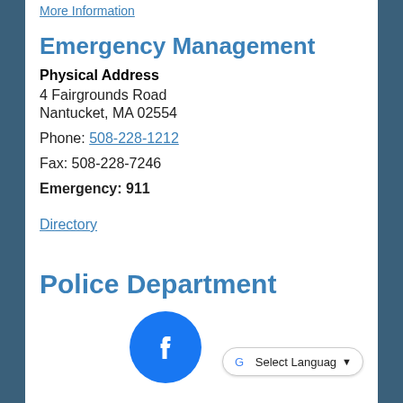More Information
Emergency Management
Physical Address
4 Fairgrounds Road
Nantucket, MA 02554
Phone: 508-228-1212
Fax: 508-228-7246
Emergency: 911
Directory
Police Department
[Figure (logo): Facebook circular logo icon in blue]
Select Language